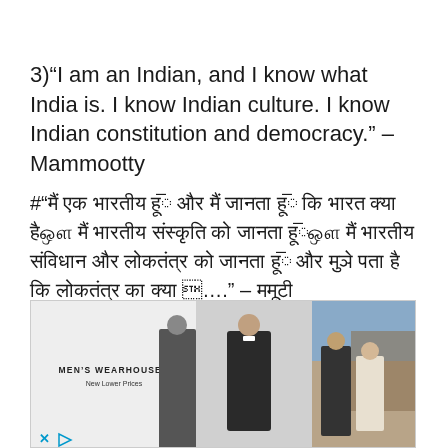3)“I am an Indian, and I know what India is. I know Indian culture. I know Indian constitution and democracy.” – Mammootty
#“मैं एक भारतीय हूँ और मैं जानता हूँ कि भारत क्या है। मैं भारतीय संस्कृति को जानता हूँ। मैं भारतीय संविधान और लोकतंत्र को जानता हूँ और मुझे पता है कि लोकतंत्र का क्या अर्थ होता है” – ममूटी
[Figure (photo): Men's Wearhouse advertisement banner showing three figures in formal suits/tuxedos with Men's Wearhouse logo and 'New Lower Prices' tagline]